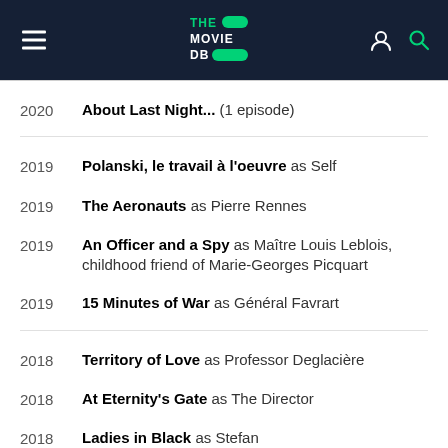THE MOVIE DB
2020 — About Last Night... (1 episode)
2019 — Polanski, le travail à l'oeuvre as Self
2019 — The Aeronauts as Pierre Rennes
2019 — An Officer and a Spy as Maître Louis Leblois, childhood friend of Marie-Georges Picquart
2019 — 15 Minutes of War as Général Favrart
2018 — Territory of Love as Professor Deglacière
2018 — At Eternity's Gate as The Director
2018 — Ladies in Black as Stefan
2018 — The Summer House as Jonathan Dickinson